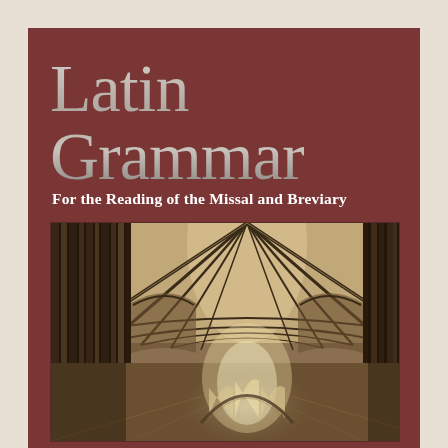Latin Grammar
For the Reading of the Missal and Breviary
[Figure (photo): Interior of a Gothic cathedral nave showing pointed ribbed vaulting, tall columns, and arched windows with light streaming through at the far end]